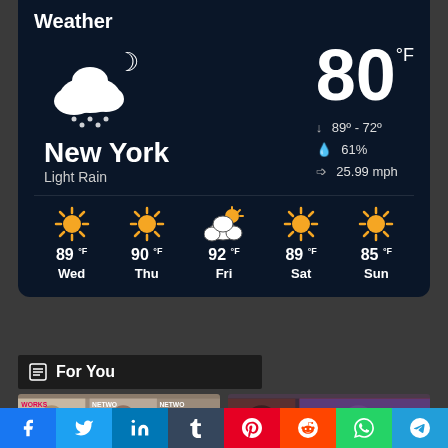Weather
[Figure (infographic): Weather widget showing New York, Light Rain, 80°F, high 89° low 72°, 61% precipitation, 25.99 mph wind. 5-day forecast: Wed 89°F, Thu 90°F, Fri 92°F, Sat 89°F, Sun 85°F]
For You
[Figure (photo): News thumbnail images at bottom]
[Figure (infographic): Social sharing bar: Facebook, Twitter, LinkedIn, Tumblr, Pinterest, Reddit, WhatsApp, Telegram]